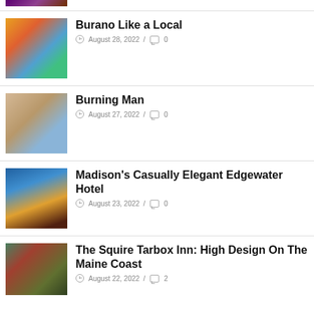[Figure (photo): Partial top image, purple/dark tones]
Burano Like a Local
August 28, 2022 / 0
[Figure (photo): Colorful buildings in Burano, Italy]
Burning Man
August 27, 2022 / 0
[Figure (photo): Blonde woman outdoors at Burning Man desert]
Madison's Casually Elegant Edgewater Hotel
August 23, 2022 / 0
[Figure (photo): Sunset over water with people dining outdoors]
The Squire Tarbox Inn: High Design On The Maine Coast
August 22, 2022 / 2
[Figure (photo): Red door with greenery, inn entrance]